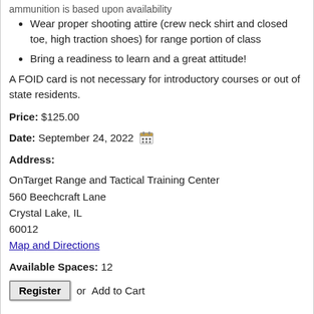Wear proper shooting attire (crew neck shirt and closed toe, high traction shoes) for range portion of class
Bring a readiness to learn and a great attitude!
A FOID card is not necessary for introductory courses or out of state residents.
Price: $125.00
Date: September 24, 2022
Address:
OnTarget Range and Tactical Training Center
560 Beechcraft Lane
Crystal Lake, IL
60012
Map and Directions
Available Spaces: 12
Register or Add to Cart